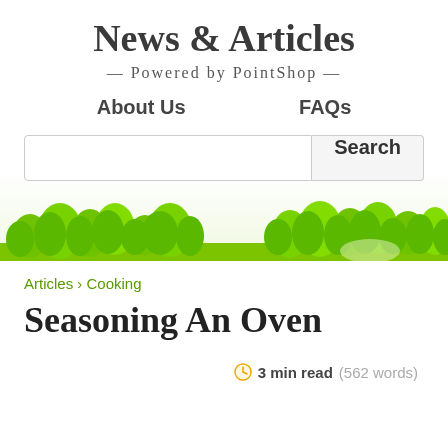News & Articles
— Powered by PointShop —
About Us
FAQs
[Figure (screenshot): Search bar with text input field and Search button, overlaid on a green grass illustration]
Articles › Cooking
Seasoning An Oven
3 min read (562 words)